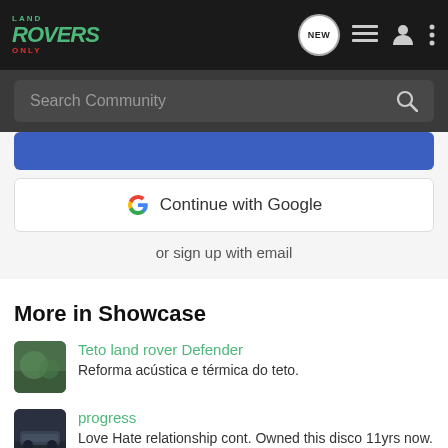Land Rovers Only — navigation bar with logo, NEW badge, list icon, user icon, more icon
Search Community
[Figure (screenshot): Blue button partially visible at top of sign-up card]
Continue with Google
or sign up with email
More in Showcase
Teto land rover Defender
Reforma acústica e térmica do teto.
progress
Love Hate relationship cont. Owned this disco 11yrs now. Learned most...